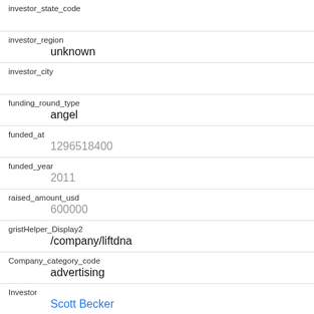| Field | Value |
| --- | --- |
| investor_state_code |  |
| investor_region | unknown |
| investor_city |  |
| funding_round_type | angel |
| funded_at | 1296518400 |
| funded_year | 2011 |
| raised_amount_usd | 600000 |
| gristHelper_Display2 | /company/liftdna |
| Company_category_code | advertising |
| Investor | Scott Becker |